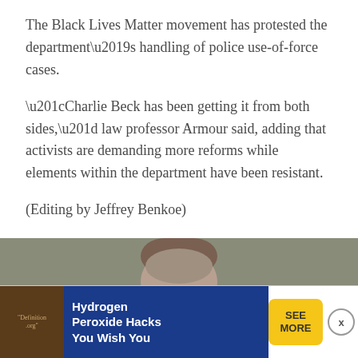The Black Lives Matter movement has protested the department’s handling of police use-of-force cases.
“Charlie Beck has been getting it from both sides,” law professor Armour said, adding that activists are demanding more reforms while elements within the department have been resistant.
(Editing by Jeffrey Benkoe)
[Figure (photo): Partial view of a person's head with gray/brown hair against a grayish-green background]
[Figure (infographic): Advertisement bar: thumbnail image with Definition.org text, blue background with text 'Hydrogen Peroxide Hacks You Wish You', yellow SEE MORE button, and X close button]